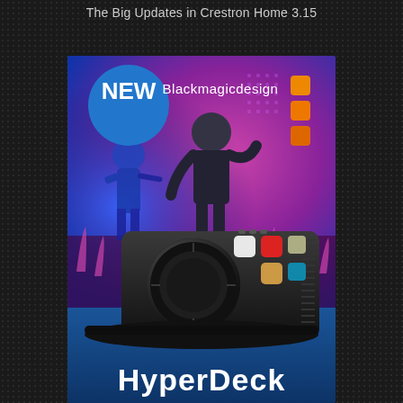The Big Updates in Crestron Home 3.15
[Figure (photo): Blackmagic Design product advertisement showing a HyperDeck device (a black hardware controller with a large jog dial and colored buttons) against a concert background with performers on stage under blue and pink/magenta lighting. The ad features 'NEW' badge in a blue circle, Blackmagic Design logo with orange squares, and 'HyperDeck' text at the bottom in bold white letters.]